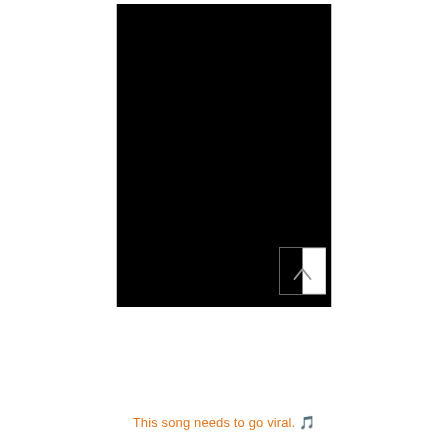[Figure (photo): Large black rectangle representing a dark/black image or video frame, with a small UI button element in the lower-right corner containing an upward-pointing chevron arrow icon on a white square background.]
This song needs to go viral. 🎵